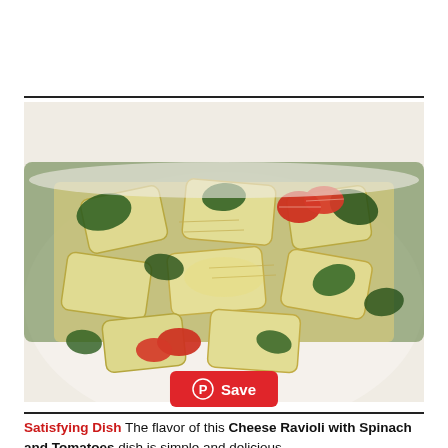[Figure (photo): A white bowl filled with cheese ravioli topped with sautéed spinach and halved cherry tomatoes, glistening with olive oil.]
Satisfying Dish The flavor of this Cheese Ravioli with Spinach and Tomatoes dish is simple and delicious.